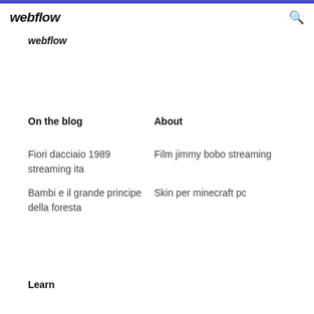webflow
webflow
On the blog
About
Fiori dacciaio 1989 streaming ita
Film jimmy bobo streaming
Bambi e il grande principe della foresta
Skin per minecraft pc
Learn